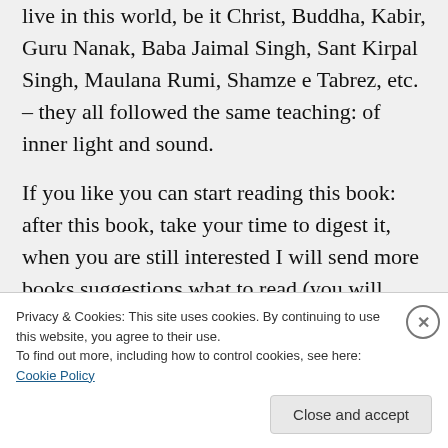live in this world, be it Christ, Buddha, Kabir, Guru Nanak, Baba Jaimal Singh, Sant Kirpal Singh, Maulana Rumi, Shamze e Tabrez, etc. – they all followed the same teaching: of inner light and sound.
If you like you can start reading this book: after this book, take your time to digest it, when you are still interested I will send more books suggestions what to read (you will learn a lot and will progress on the path of spirituality) – here is the first link:
Privacy & Cookies: This site uses cookies. By continuing to use this website, you agree to their use.
To find out more, including how to control cookies, see here: Cookie Policy